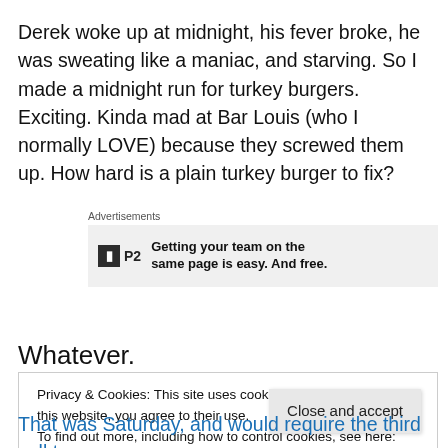Derek woke up at midnight, his fever broke, he was sweating like a maniac, and starving. So I made a midnight run for turkey burgers. Exciting. Kinda mad at Bar Louis (who I normally LOVE) because they screwed them up. How hard is a plain turkey burger to fix?
[Figure (other): Advertisement banner for P2 product with logo box and text: Getting your team on the same page is easy. And free.]
Whatever.
Privacy & Cookies: This site uses cookies. By continuing to use this website, you agree to their use.
To find out more, including how to control cookies, see here: Cookie Policy
That was Saturday, and would require the third call to my